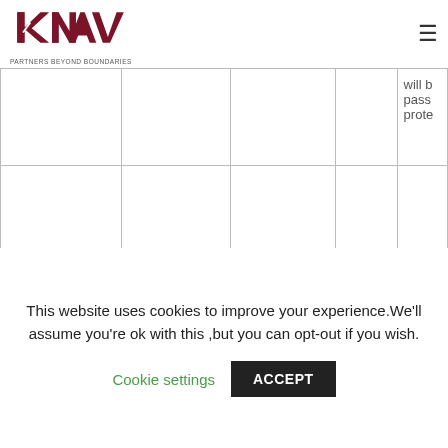[Figure (logo): KNAV logo with text PARTNERS BEYOND BOUNDARIES]
|  |  |  |  | will b pass prote |
|  |  | Sick certificates &... | To enable processing... | CS... |
This website uses cookies to improve your experience.We'll assume you're ok with this ,but you can opt-out if you wish.
Cookie settings
ACCEPT